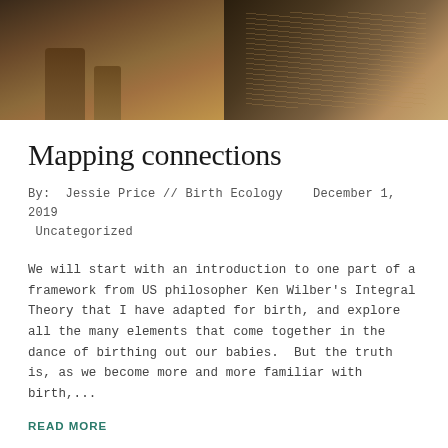[Figure (photo): Two-panel hero image: left panel shows a cave or rock formation with warm brown and orange tones; right panel shows dry grasses or reeds in golden-brown tones.]
Mapping connections
By:  Jessie Price // Birth Ecology    December 1, 2019
 Uncategorized
We will start with an introduction to one part of a framework from US philosopher Ken Wilber's Integral Theory that I have adapted for birth, and explore all the many elements that come together in the dance of birthing out our babies.  But the truth is, as we become more and more familiar with birth,...
READ MORE